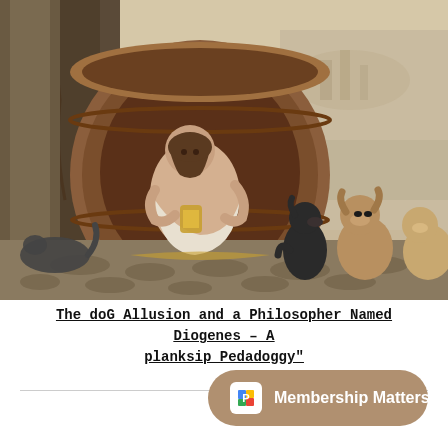[Figure (illustration): Classical oil painting of Diogenes sitting inside a large barrel/jar, holding a lantern, with several dogs nearby. A cat lies to his left. Ancient Greek city visible in the background on the right.]
The doG Allusion and a Philosopher Named Diogenes – A planksip Pedadoggy"
Membership Matters!